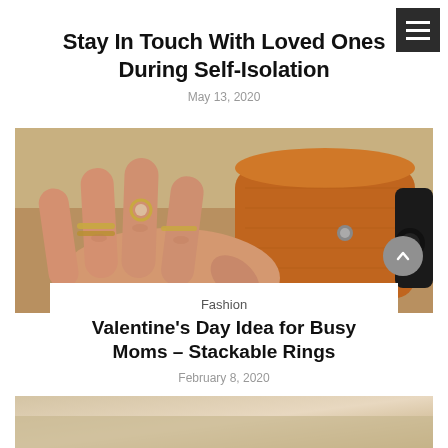[Figure (other): Hamburger/menu icon button, dark background with three white horizontal lines]
Stay In Touch With Loved Ones During Self-Isolation
May 13, 2020
[Figure (photo): Close-up photo of a hand wearing multiple stackable gold rings, resting on a brown leather accessory]
Fashion
Valentine's Day Idea for Busy Moms – Stackable Rings
February 8, 2020
[Figure (photo): Bottom portion of another article's featured image, partially visible]